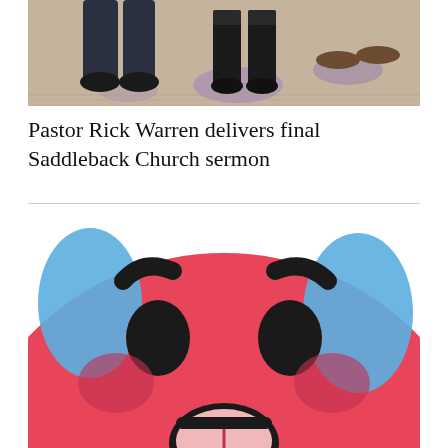[Figure (photo): Cropped photo showing people's lower bodies and feet on a wooden floor with purple lighting accents]
Pastor Rick Warren delivers final Saddleback Church sermon
[Figure (illustration): Close-up of a large red crying face emoji with blue tears, sad downturned eyebrows, rosy cheeks, and an open frowning mouth, shown cropped]